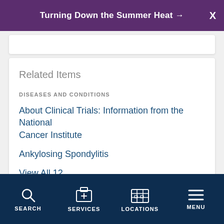Turning Down the Summer Heat →  X
Related Items
DISEASES AND CONDITIONS
About Clinical Trials: Information from the National Cancer Institute
Ankylosing Spondylitis
View All 12
SEARCH   SERVICES   LOCATIONS   MENU